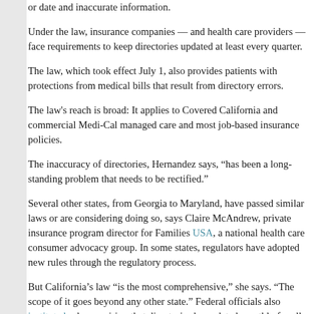or date and inaccurate information.
Under the law, insurance companies — and health care providers — face requirements to keep directories updated at least every quarter.
The law, which took effect July 1, also provides patients with protections from medical bills that result from directory errors.
The law's reach is broad: It applies to Covered California and commercial Medi-Cal managed care and most job-based insurance policies.
The inaccuracy of directories, Hernandez says, "has been a long-standing problem that needs to be rectified."
Several other states, from Georgia to Maryland, have passed similar laws or are considering doing so, says Claire McAndrew, private insurance program director for Families USA, a national health care consumer advocacy group. In some states, regulators have adopted new rules through the regulatory process.
But California's law "is the most comprehensive," she says. "The scope of it goes beyond any other state." Federal officials also instituted rules requiring that directories be updated monthly for all plans sold on the 37 states run by the federal government.